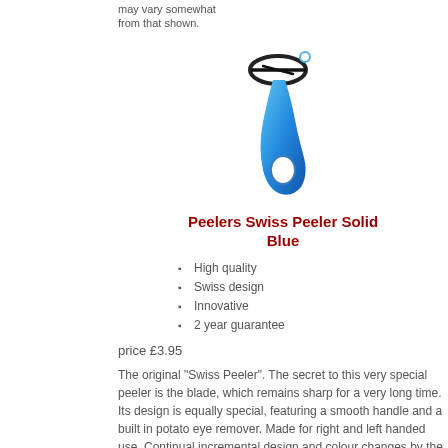may vary somewhat from that shown.
[Figure (illustration): Blue Swiss Peeler kitchen tool with Y-shaped blade and ergonomic blue handle with finger hole]
Peelers Swiss Peeler Solid Blue
High quality
Swiss design
Innovative
2 year guarantee
price £3.95
The original "Swiss Peeler". The secret to this very special peeler is the blade, which remains sharp for a very long time. Its design is equally special, featuring a smooth handle and a built in potato eye remover. Made for right and left handed use. Continual incremental design and colour changes by the supplier make the updating of product images a